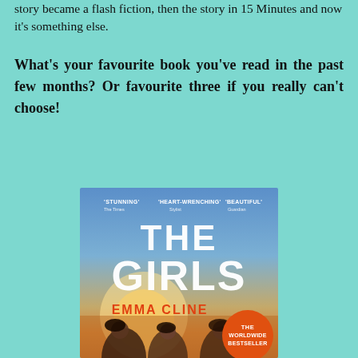story became a flash fiction, then the story in 15 Minutes and now it's something else.
What's your favourite book you've read in the past few months? Or favourite three if you really can't choose!
[Figure (photo): Book cover of 'The Girls' by Emma Cline. The cover shows a gradient from warm golden/sunset tones at the bottom to a blue sky at the top. Three young women are visible at the bottom. Large white text reads 'THE GIRLS' and red/orange text reads 'EMMA CLINE'. Blurbs at the top: 'STUNNING' - Hot Times, 'HEART-WRENCHING' - Stylist, 'BEAUTIFUL' - Guardian. An orange circle badge reads 'THE WORLDWIDE BESTSELLER'.]